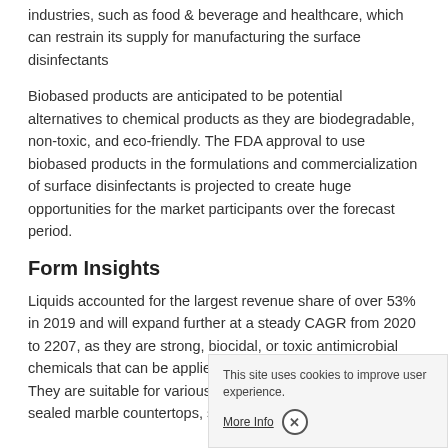industries, such as food & beverage and healthcare, which can restrain its supply for manufacturing the surface disinfectants
Biobased products are anticipated to be potential alternatives to chemical products as they are biodegradable, non-toxic, and eco-friendly. The FDA approval to use biobased products in the formulations and commercialization of surface disinfectants is projected to create huge opportunities for the market participants over the forecast period.
Form Insights
Liquids accounted for the largest revenue share of over 53% in 2019 and will expand further at a steady CAGR from 2020 to 2207, as they are strong, biocidal, or toxic antimicrobial chemicals that can be applied to contaminated surfaces. They are suitable for various applications, both household sealed marble countertops, sealed granite countertops,